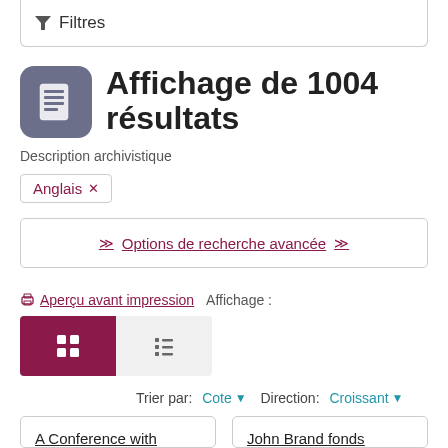Filtres
Affichage de 1004 résultats
Description archivistique
Anglais ×
Options de recherche avancée
Aperçu avant impression   Affichage :
Trier par: Cote ▾  Direction: Croissant ▾
A Conference with some Jewish
John Brand fonds